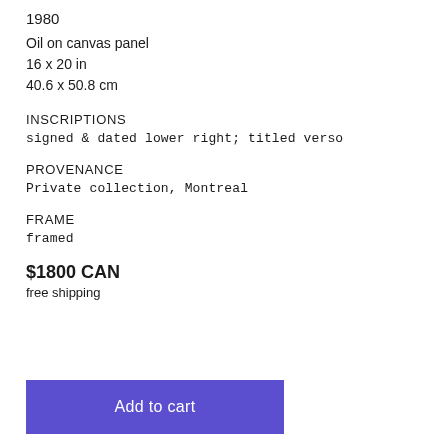1980
Oil on canvas panel
16 x 20 in
40.6 x 50.8 cm
INSCRIPTIONS
signed & dated lower right; titled verso
PROVENANCE
Private collection, Montreal
FRAME
framed
$1800 CAN
free shipping
Add to cart